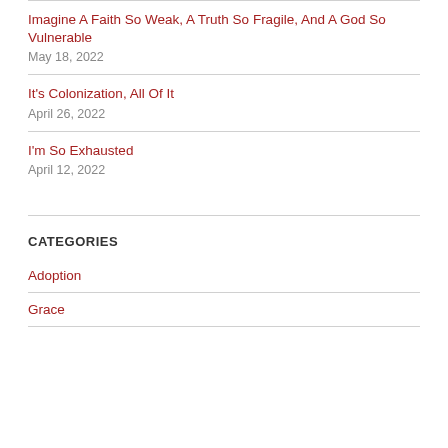Imagine A Faith So Weak, A Truth So Fragile, And A God So Vulnerable
May 18, 2022
It's Colonization, All Of It
April 26, 2022
I'm So Exhausted
April 12, 2022
CATEGORIES
Adoption
Grace